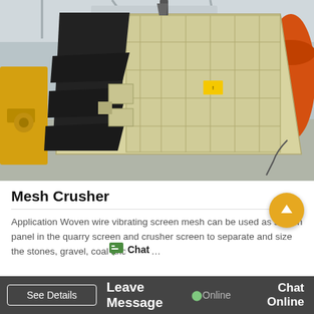[Figure (photo): Industrial vibrating screen/mesh crusher equipment in cream/yellow and black colors, photographed in a factory/warehouse setting with concrete floor, yellow equipment visible at left and orange cylindrical object at right background.]
Mesh Crusher
Application Woven wire vibrating screen mesh can be used as screen panel in the quarry screen and crusher screen to separate and size the stones, gravel, coal and other...
See Details   Leave Message   Online   Chat Online